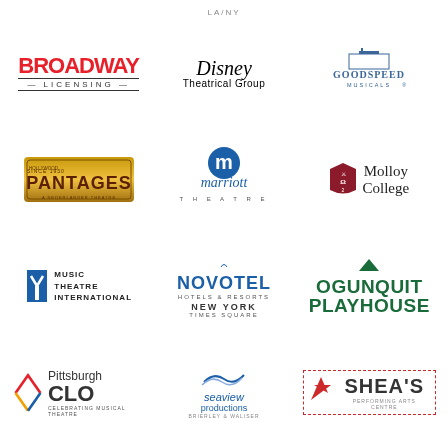LA/NY
[Figure (logo): Broadway Licensing logo in red bold text]
[Figure (logo): Disney Theatrical Group logo in cursive font]
[Figure (logo): Goodspeed Musicals logo in blue with building illustration]
[Figure (logo): Hollywood Pantages logo in retro style]
[Figure (logo): Marriott Theatre logo with M circle in blue]
[Figure (logo): Molloy College logo with shield emblem]
[Figure (logo): Music Theatre International logo with black swoosh]
[Figure (logo): Novotel Hotels and Resorts New York Times Square logo]
[Figure (logo): Ogunquit Playhouse logo in green bold text]
[Figure (logo): Pittsburgh CLO Celebrating Musical Theatre logo]
[Figure (logo): Seaview Productions logo with wave graphic]
[Figure (logo): Shea's Performing Arts Centre logo in dashed red border]